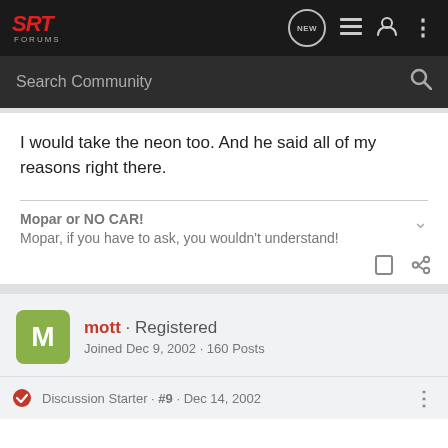SRT FORUMS
I would take the neon too. And he said all of my reasons right there.
Mopar or NO CAR!
Mopar, if you have to ask, you wouldn't understand!
mott · Registered
Joined Dec 9, 2002 · 160 Posts
Discussion Starter · #9 · Dec 14, 2002